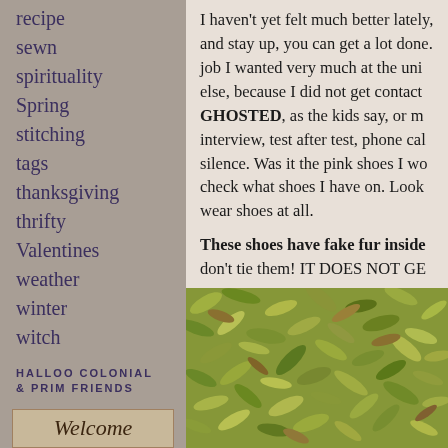recipe
sewn
spirituality
Spring
stitching
tags
thanksgiving
thrifty
Valentines
weather
winter
witch
HALLOO COLONIAL & PRIM FRIENDS
Welcome
I haven't yet felt much better lately, and stay up, you can get a lot done. job I wanted very much at the uni else, because I did not get contact GHOSTED, as the kids say, or m interview, test after test, phone cal silence. Was it the pink shoes I wo check what shoes I have on. Look wear shoes at all.
These shoes have fake fur inside don't tie them! IT DOES NOT GE
[Figure (photo): Close-up photo of fallen leaves on the ground, showing yellow, green, and brown autumn leaves scattered densely.]